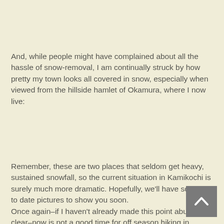And, while people might have complained about all the hassle of snow-removal, I am continually struck by how pretty my town looks all covered in snow, especially when viewed from the hillside hamlet of Okamura, where I now live:
Remember, these are two places that seldom get heavy, sustained snowfall, so the current situation in Kamikochi is surely much more dramatic.  Hopefully, we'll have some up to date pictures to show you soon.
Once again–if I haven't already made this point abundantly clear–now is not a good time for off season hiking in Kamikochi.  Getting there would likely be more difficult than
[Figure (other): Scroll-to-top button with upward chevron arrow on grey background]